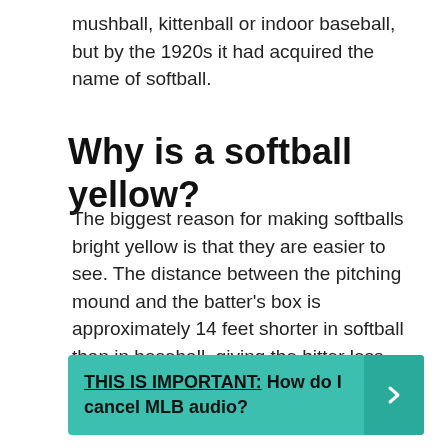mushball, kittenball or indoor baseball, but by the 1920s it had acquired the name of softball.
Why is a softball yellow?
The biggest reason for making softballs bright yellow is that they are easier to see. The distance between the pitching mound and the batter's box is approximately 14 feet shorter in softball than in baseball, giving the hitter less time to react to the pitch.
THIS IS IMPORTANT: How do I cancel MLB audio?
Can I start softball at 13?